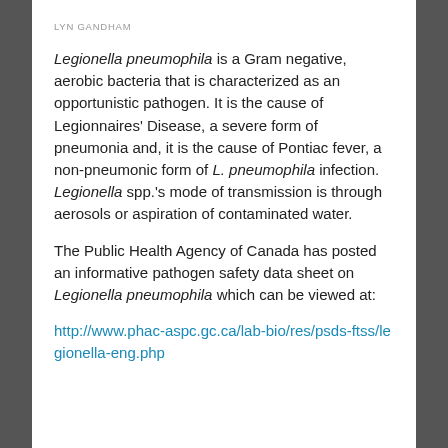LYN GANDHAM
Legionella pneumophila is a Gram negative, aerobic bacteria that is characterized as an opportunistic pathogen. It is the cause of Legionnaires' Disease, a severe form of pneumonia and, it is the cause of Pontiac fever, a non-pneumonic form of L. pneumophila infection. Legionella spp.'s mode of transmission is through aerosols or aspiration of contaminated water.
The Public Health Agency of Canada has posted an informative pathogen safety data sheet on Legionella pneumophila which can be viewed at:
http://www.phac-aspc.gc.ca/lab-bio/res/psds-ftss/legionella-eng.php